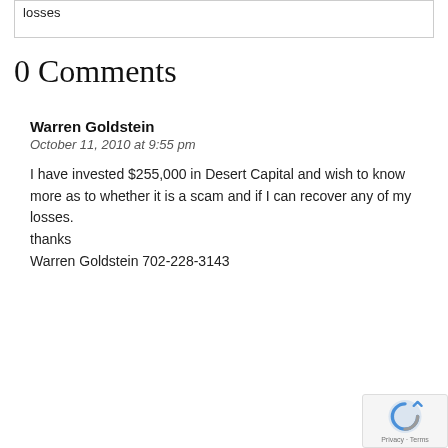losses
0 Comments
Warren Goldstein
October 11, 2010 at 9:55 pm

I have invested $255,000 in Desert Capital and wish to know more as to whether it is a scam and if I can recover any of my losses.
thanks
Warren Goldstein 702-228-3143